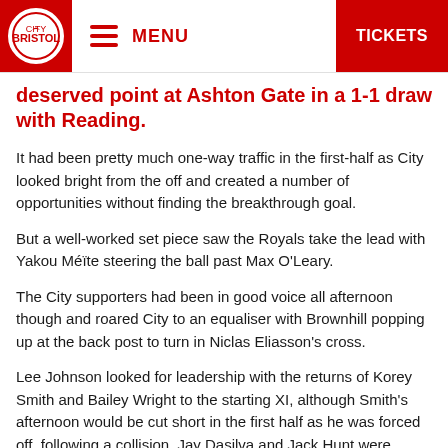MENU | TICKETS
deserved point at Ashton Gate in a 1-1 draw with Reading.
It had been pretty much one-way traffic in the first-half as City looked bright from the off and created a number of opportunities without finding the breakthrough goal.
But a well-worked set piece saw the Royals take the lead with Yakou Méïte steering the ball past Max O'Leary.
The City supporters had been in good voice all afternoon though and roared City to an equaliser with Brownhill popping up at the back post to turn in Niclas Eliasson's cross.
Lee Johnson looked for leadership with the returns of Korey Smith and Bailey Wright to the starting XI, although Smith's afternoon would be cut short in the first half as he was forced off, following a collision. Jay Dasilva and Jack Hunt were deployed as wing-backs too, shifting in and out of a back three and five, depending on the duties required.